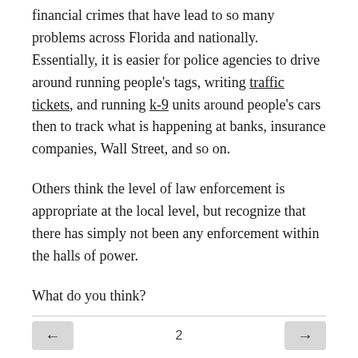financial crimes that have lead to so many problems across Florida and nationally. Essentially, it is easier for police agencies to drive around running people's tags, writing traffic tickets, and running k-9 units around people's cars then to track what is happening at banks, insurance companies, Wall Street, and so on.
Others think the level of law enforcement is appropriate at the local level, but recognize that there has simply not been any enforcement within the halls of power.
What do you think?
← 2 →